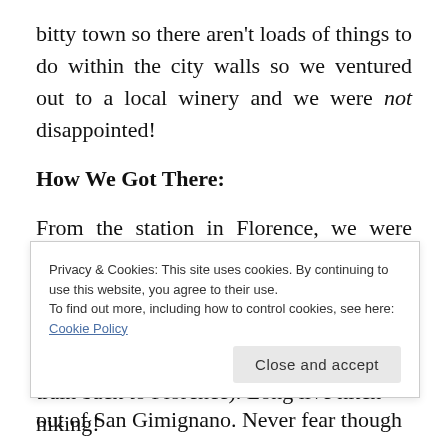bitty town so there aren't loads of things to do within the city walls so we ventured out to a local winery and we were not disappointed!
How We Got There:
From the station in Florence, we were able to catch a bus straight to San Gimignano. Getting back ended up being a bit of a debacle after our hotel inaccurately relayed the Sunday bus schedule to us and we missed the last bus out of San Gimignano. Never fear though
train back to Florence). Long live hitch hiking!